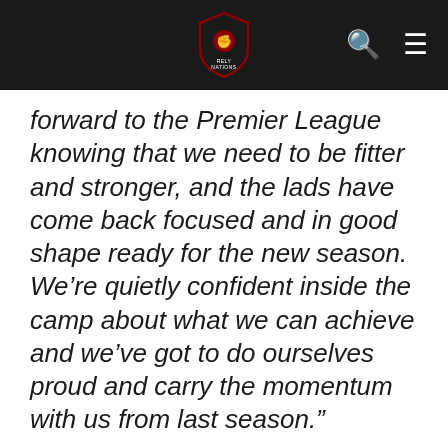[Logo: Rely Nations] [Search icon] [Menu icon]
forward to the Premier League knowing that we need to be fitter and stronger, and the lads have come back focused and in good shape ready for the new season. We're quietly confident inside the camp about what we can achieve and we've got to do ourselves proud and carry the momentum with us from last season."
-------------
The RoM Manchester United 2022-23 season